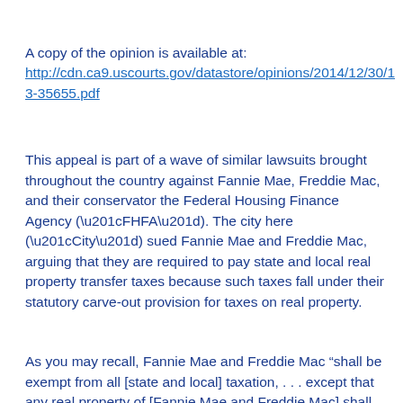A copy of the opinion is available at:
http://cdn.ca9.uscourts.gov/datastore/opinions/2014/12/30/13-35655.pdf
This appeal is part of a wave of similar lawsuits brought throughout the country against Fannie Mae, Freddie Mac, and their conservator the Federal Housing Finance Agency (“FHFA”).  The city here (“City”) sued Fannie Mae and Freddie Mac, arguing that they are required to pay state and local real property transfer taxes because such taxes fall under their statutory carve-out provision for taxes on real property.
As you may recall, Fannie Mae and Freddie Mac “shall be exempt from all [state and local] taxation, . . . except that any real property of [Fannie Mae and Freddie Mac] shall be subject to State [and] local taxation to the same extent as